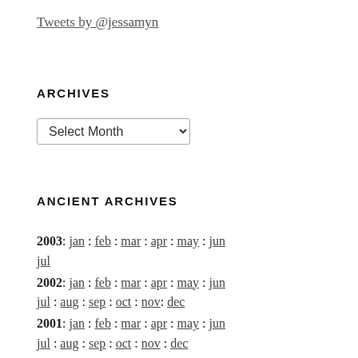Tweets by @jessamyn
ARCHIVES
Select Month (dropdown)
ANCIENT ARCHIVES
2003: jan : feb : mar : apr : may : jun jul
2002: jan : feb : mar : apr : may : jun jul : aug : sep : oct : nov: dec
2001: jan : feb : mar : apr : may : jun jul : aug : sep : oct : nov : dec